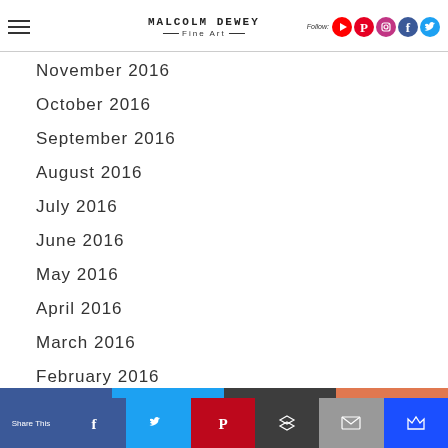Malcolm Dewey Fine Art — navigation header with social icons
November 2016
October 2016
September 2016
August 2016
July 2016
June 2016
May 2016
April 2016
March 2016
February 2016
January 2016
Share This | Facebook | Twitter | Pinterest | Buffer | Email | Kindle